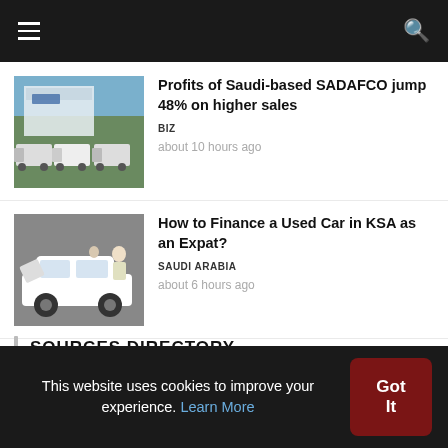Navigation bar with hamburger menu and search icon
Profits of Saudi-based SADAFCO jump 48% on higher sales
BIZ
about 10 hours ago
How to Finance a Used Car in KSA as an Expat?
SAUDI ARABIA
about 6 hours ago
SOURCES DIRECTORY
| TITLE | NEWS |
| --- | --- |